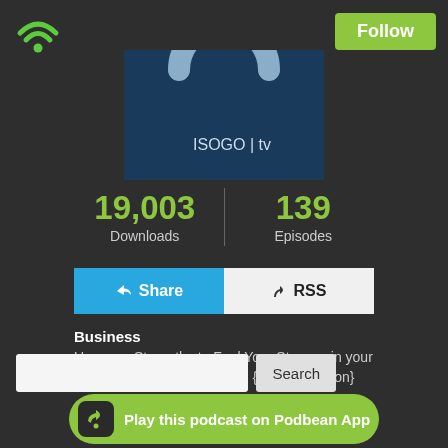[Figure (logo): WiFi/Podbean logo icon at top left]
Follow
[Figure (logo): ISOGO tv podcast logo — dark blue background with a light blue arc/horseshoe shape and ISOGO | tv text]
19,003 Downloads | 139 Episodes
Share
RSS
Business
Use your Strengths to Fuel Your Story — in your marriage, parenting, + work. {VIDEO version}
Search
Play this podcast on Podbean App